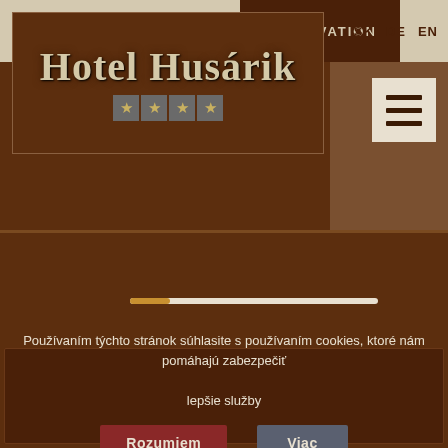RESERVATION  SK  DE  EN
[Figure (logo): Hotel Husárik logo with gothic serif text and four stars on grey boxes inside a bordered rectangle]
[Figure (other): Hamburger menu icon (three horizontal lines) on a light beige square button]
[Figure (other): Loading progress bar: short gold segment on left, long beige bar to the right]
Používaním týchto stránok súhlasite s používaním cookies, ktoré nám pomáhajú zabezpečiť lepšie služby
Rozumiem
Viac